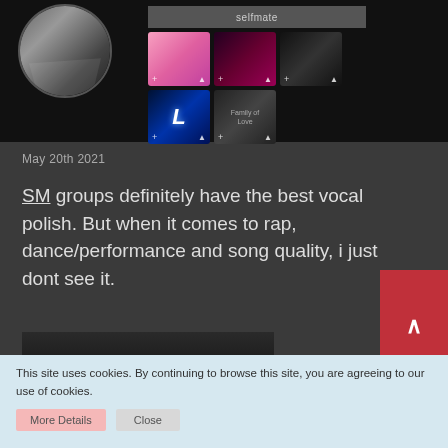[Figure (screenshot): Social media profile page with username 'selfmate', circular profile photo of a person covering their face, and 5 thumbnail images of K-pop artists/content]
May 20th 2021
SM groups definitely have the best vocal polish. But when it comes to rap, dance/performance and song quality, i just dont see it.
[Figure (photo): Partial image preview of a dark photo]
This site uses cookies. By continuing to browse this site, you are agreeing to our use of cookies.